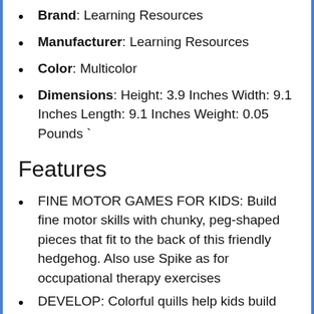Brand: Learning Resources
Manufacturer: Learning Resources
Color: Multicolor
Dimensions: Height: 3.9 Inches Width: 9.1 Inches Length: 9.1 Inches Weight: 0.05 Pounds `
Features
FINE MOTOR GAMES FOR KIDS: Build fine motor skills with chunky, peg-shaped pieces that fit to the back of this friendly hedgehog. Also use Spike as for occupational therapy exercises
DEVELOP: Colorful quills help kids build color recognition, sorting, and